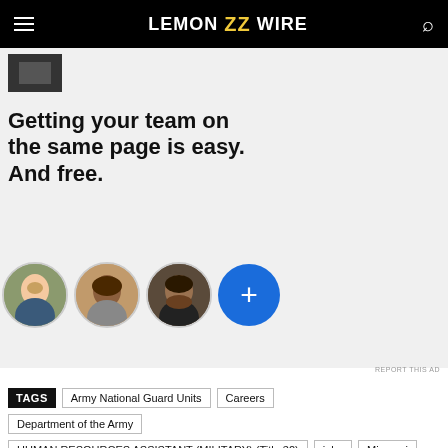LEMON ZZ WIRE
[Figure (infographic): Advertisement banner with headline 'Getting your team on the same page is easy. And free.' and three person avatar circles plus a blue plus button]
REPORT THIS AD
TAGS  Army National Guard Units  Careers
Department of the Army
HUMAN RESOURCES ASSISTANT (MILITARY) (Title 32)  jobs  Missouri